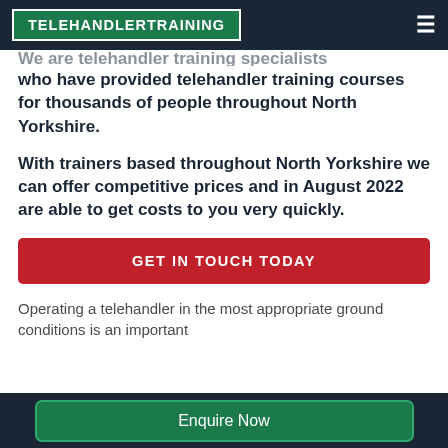TELEHANDLERTRAINING
We are telehandler training specialists who have provided telehandler training courses for thousands of people throughout North Yorkshire.
With trainers based throughout North Yorkshire we can offer competitive prices and in August 2022 are able to get costs to you very quickly.
GET IN TOUCH TODAY
Operating a telehandler in the most appropriate ground conditions is an important
Enquire Now